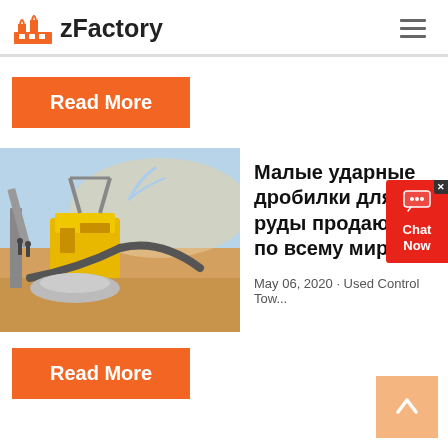zFactory
Read More
[Figure (photo): Industrial ore crushing machinery (yellow crusher) operating at a mine site with conveyor belts and dusty terrain]
Малые ударные дробилки для руды продаются по всему миру
May 06, 2020 · Used Control Tow...
Read More